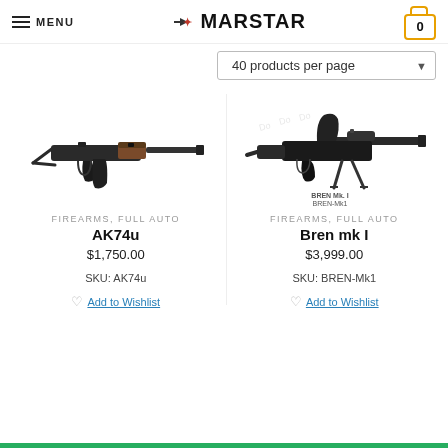MENU | MARSTAR | Cart: 0
40 products per page
[Figure (photo): AK74u firearm photo - assault rifle with folding stock and wooden foregrip]
FIREARMS, FULL AUTO
AK74u
$1,750.00
SKU: AK74u
Add to Wishlist
[Figure (photo): Bren mk I light machine gun photo with bipod and curved magazine, watermark visible]
FIREARMS, FULL AUTO
Bren mk I
$3,999.00
SKU: BREN-Mk1
Add to Wishlist